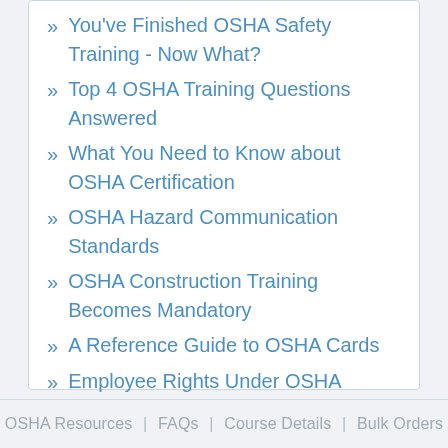You've Finished OSHA Safety Training - Now What?
Top 4 OSHA Training Questions Answered
What You Need to Know about OSHA Certification
OSHA Hazard Communication Standards
OSHA Construction Training Becomes Mandatory
A Reference Guide to OSHA Cards
Employee Rights Under OSHA
The 3 Basic Rules of Fall Protection
More Articles...
OSHA Resources | FAQs | Course Details | Bulk Orders